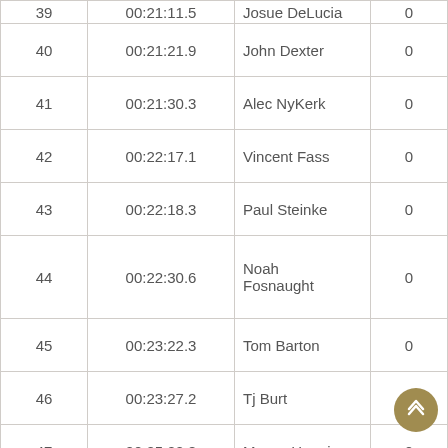| Place | Time | Name | Points |
| --- | --- | --- | --- |
| 39 | 00:21:11.5 | Josue DeLucia | 0 |
| 40 | 00:21:21.9 | John Dexter | 0 |
| 41 | 00:21:30.3 | Alec NyKerk | 0 |
| 42 | 00:22:17.1 | Vincent Fass | 0 |
| 43 | 00:22:18.3 | Paul Steinke | 0 |
| 44 | 00:22:30.6 | Noah Fosnaught | 0 |
| 45 | 00:23:22.3 | Tom Barton | 0 |
| 46 | 00:23:27.2 | Tj Burt | 0 |
| 47 | 00:25:22.8 | Moses Huggins | 0 |
| 48 | 00:25:42.7 | Logan Schuster | 0 |